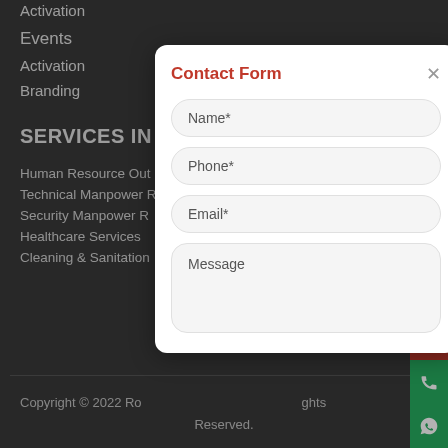Activation
Events
Activation
Branding
SERVICES IN MA
Human Resource Out
Technical Manpower
Security Manpower R
Healthcare Services
Cleaning & Sanitation
Copyright © 2022 Ro... ghts Reserved.
[Figure (screenshot): Contact Form modal dialog with fields: Name*, Phone*, Email*, Message. Has a red title 'Contact Form' and a gray X close button.]